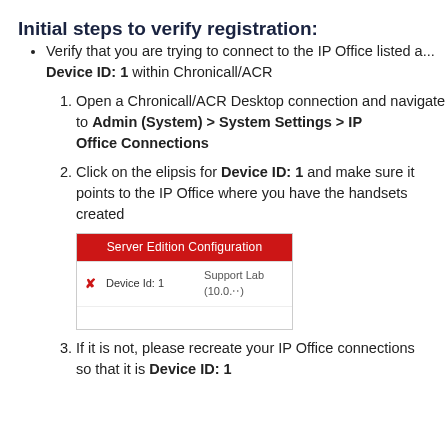Initial steps to verify registration:
Verify that you are trying to connect to the IP Office listed a... Device ID: 1 within Chronicall/ACR
1. Open a Chronicall/ACR Desktop connection and navigate to Admin (System) > System Settings > IP Office Connections
2. Click on the elipsis for Device ID: 1 and make sure it points to the IP Office where you have the handsets created
[Figure (screenshot): Screenshot of Server Edition Configuration dialog showing Device Id: 1 and Support Lab (10.0.x.xx) entry with a red header bar]
3. If it is not, please recreate your IP Office connections so that it is Device ID: 1